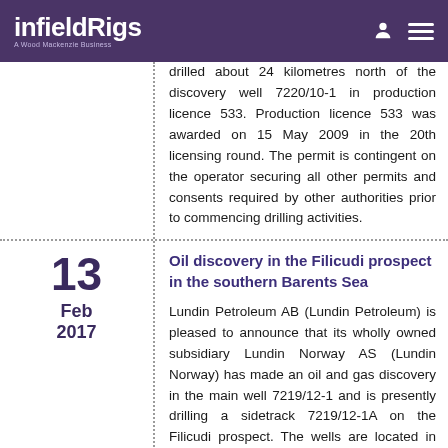infieldRigs — A Wood Mackenzie Business
drilled about 24 kilometres north of the discovery well 7220/10-1 in production licence 533. Production licence 533 was awarded on 15 May 2009 in the 20th licensing round. The permit is contingent on the operator securing all other permits and consents required by other authorities prior to commencing drilling activities.
Oil discovery in the Filicudi prospect in the southern Barents Sea
Lundin Petroleum AB (Lundin Petroleum) is pleased to announce that its wholly owned subsidiary Lundin Norway AS (Lundin Norway) has made an oil and gas discovery in the main well 7219/12-1 and is presently drilling a sidetrack 7219/12-1A on the Filicudi prospect. The wells are located in PL533 approximately 40 km southwest of Johan Castberg and 30 km northwest of the Alta and Gohta discoveries on the Loppa High in the southern Barents Sea. The main objective of